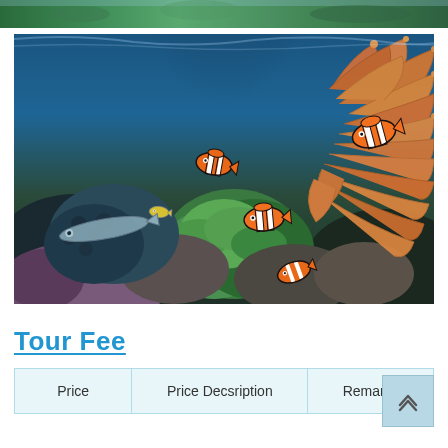[Figure (photo): Partial top strip of an underwater/coral reef photo cropped at top of page]
[Figure (photo): Underwater coral reef scene with clownfish (Nemo-style fish with orange and black/white stripes) swimming among colorful coral and sea anemones including a large orange sea anemone on the right side]
Tour Fee
| Price | Price Decsription | Remarks |
| --- | --- | --- |